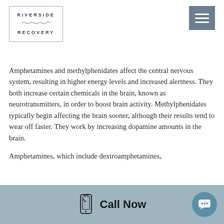[Figure (logo): Riverside Recovery logo in a rectangular border with wavy line between RIVERSIDE and RECOVERY text]
[Figure (other): Hamburger menu icon (three horizontal white bars on dark blue-grey square background)]
Amphetamines and methylphenidates affect the central nervous system, resulting in higher energy levels and increased alertness. They both increase certain chemicals in the brain, known as neurotransmitters, in order to boost brain activity. Methylphenidates typically begin affecting the brain sooner, although their results tend to wear off faster. They work by increasing dopamine amounts in the brain.
Amphetamines, which include dextroamphetamines,
Call Now